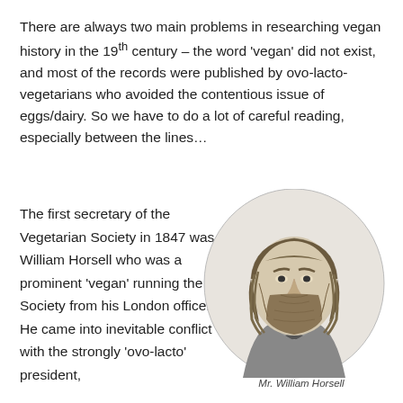There are always two main problems in researching vegan history in the 19th century – the word 'vegan' did not exist, and most of the records were published by ovo-lacto-vegetarians who avoided the contentious issue of eggs/dairy. So we have to do a lot of careful reading, especially between the lines…
The first secretary of the Vegetarian Society in 1847 was William Horsell who was a prominent 'vegan' running the Society from his London office. He came into inevitable conflict with the strongly 'ovo-lacto' president,
[Figure (illustration): A black and white engraved portrait of a bearded man (William Horsell) in 19th century attire, shown from the chest up within an oval frame.]
Mr. William Horsell